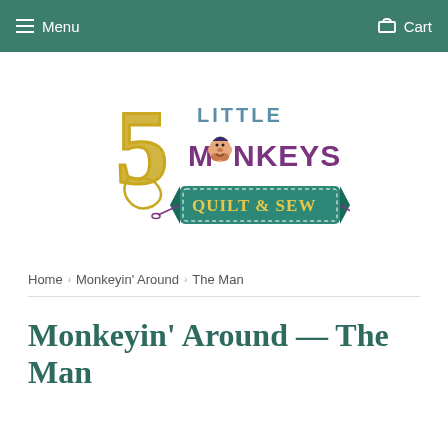Menu  Cart
[Figure (logo): 5 Little Monkeys Quilt & Sew logo with stylized number 5, monkey face, and teal banner]
Home › Monkeyin' Around › The Man
Monkeyin' Around — The Man